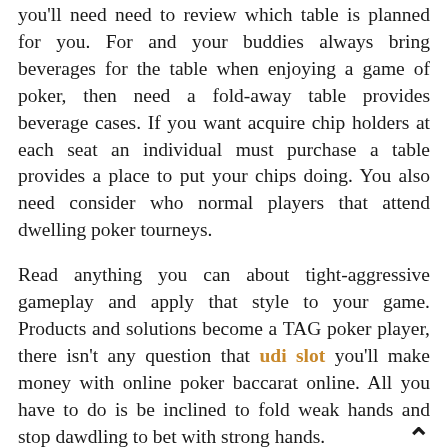you'll need need to review which table is planned for you. For and your buddies always bring beverages for the table when enjoying a game of poker, then need a fold-away table provides beverage cases. If you want acquire chip holders at each seat an individual must purchase a table provides a place to put your chips doing. You also need consider who normal players that attend dwelling poker tourneys.
Read anything you can about tight-aggressive gameplay and apply that style to your game. Products and solutions become a TAG poker player, there isn't any question that udi slot you'll make money with online poker baccarat online. All you have to do is be inclined to fold weak hands and stop dawdling to bet with strong hands.
There are numerous rules for the bet which takes place while playing online poker. The person with the highest card pints wins the movie.How to play poker helps you to